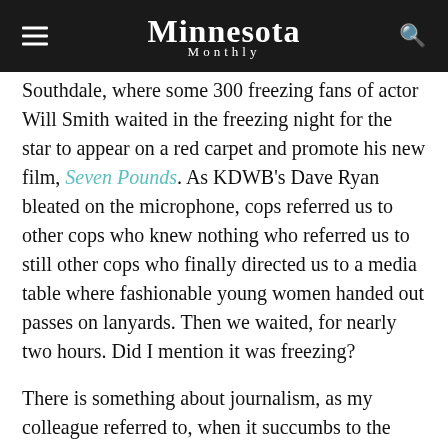Minnesota Monthly
Southdale, where some 300 freezing fans of actor Will Smith waited in the freezing night for the star to appear on a red carpet and promote his new film, Seven Pounds. As KDWB's Dave Ryan bleated on the microphone, cops referred us to other cops who knew nothing who referred us to still other cops who finally directed us to a media table where fashionable young women handed out passes on lanyards. Then we waited, for nearly two hours. Did I mention it was freezing?

There is something about journalism, as my colleague referred to, when it succumbs to the hype machine of mass entertainment that brings out the worst in everyone. The flank of media lining the red carpet were little better than the teenage girls who leaned